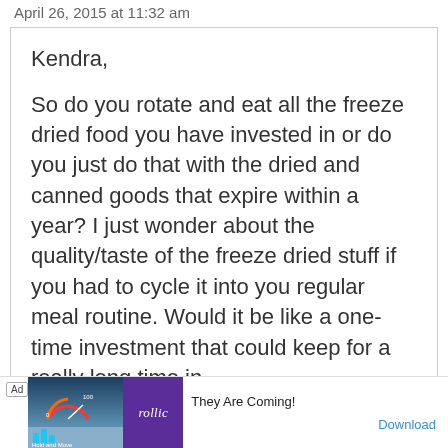April 26, 2015 at 11:32 am
Kendra,
So do you rotate and eat all the freeze dried food you have invested in or do you just do that with the dried and canned goods that expire within a year? I just wonder about the quality/taste of the freeze dried stuff if you had to cycle it into you regular meal routine. Would it be like a one-time investment that could keep for a really long time in
[Figure (screenshot): Advertisement banner showing a game ad with 'They Are Coming!' text, Rollic branding, and a Download button]